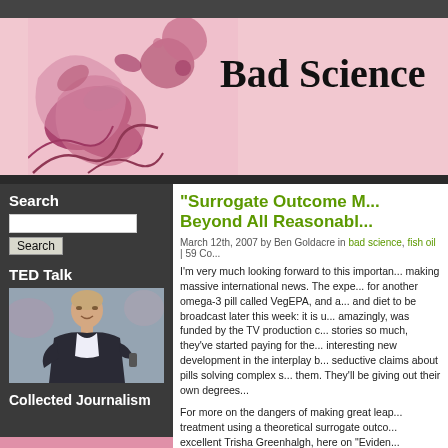Bad Science
Search
TED Talk
[Figure (photo): Photo of Ben Goldacre speaking at TED Talk, man in dark jacket gesturing with hands]
Collected Journalism
“Surrogate Outcome M... Beyond All Reasonabl...
March 12th, 2007 by Ben Goldacre in bad science, fish oil | 59 Co...
I'm very much looking forward to this importan... making massive international news. The expe... for another omega-3 pill called VegEPA, and a... and diet to be broadcast later this week: it is u... amazingly, was funded by the TV production c... stories so much, they've started paying for the... interesting new development in the interplay b... seductive claims about pills solving complex s... them. They'll be giving out their own degrees...
For more on the dangers of making great leap... treatment using a theoretical surrogate outco... excellent Trisha Greenhalgh, here on "Eviden...